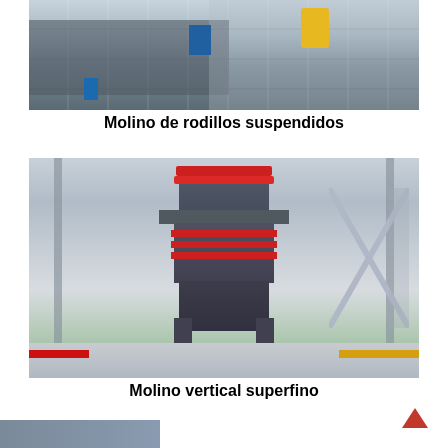[Figure (photo): Industrial building exterior showing a large factory or plant facility with steel structure, yellow crane element, and blue doors]
Molino de rodillos suspendidos
[Figure (photo): Large vertical superfine mill machine displayed in an industrial hall, with red ring bands, platform walkway, gray body, blue motor at base, surrounded by white aggregate on floor with red and yellow stripes]
Molino vertical superfino
[Figure (photo): Partial view of another industrial machine at the bottom of the page]